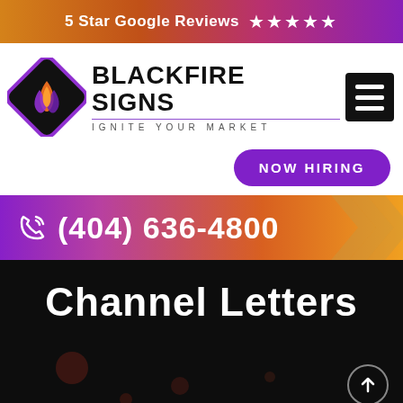5 Star Google Reviews ★★★★★
[Figure (logo): BlackFire Signs logo: purple diamond shape with flame graphic, text BLACKFIRE SIGNS IGNITE YOUR MARKET]
NOW HIRING
(404) 636-4800
Channel Letters
Home » Channel Letters